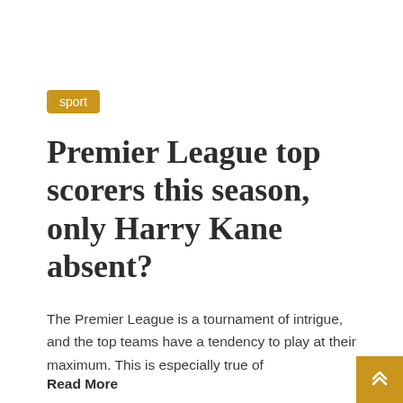sport
Premier League top scorers this season, only Harry Kane absent?
The Premier League is a tournament of intrigue, and the top teams have a tendency to play at their maximum. This is especially true of
Read More